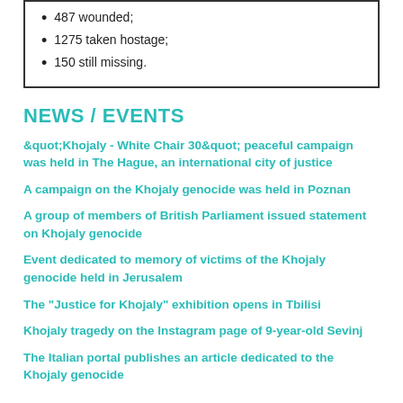487 wounded;
1275 taken hostage;
150 still missing.
NEWS / EVENTS
&quot;Khojaly - White Chair 30&quot; peaceful campaign was held in The Hague, an international city of justice
A campaign on the Khojaly genocide was held in Poznan
A group of members of British Parliament issued statement on Khojaly genocide
Event dedicated to memory of victims of the Khojaly genocide held in Jerusalem
The "Justice for Khojaly" exhibition opens in Tbilisi
Khojaly tragedy on the Instagram page of 9-year-old Sevinj
The Italian portal publishes an article dedicated to the Khojaly genocide